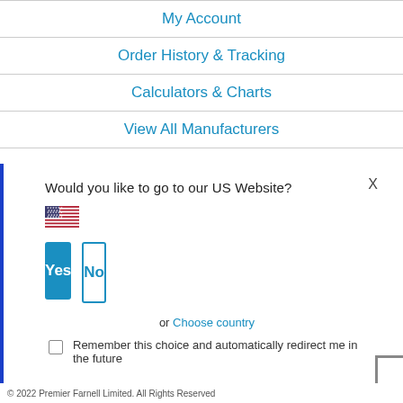My Account
Order History & Tracking
Calculators & Charts
View All Manufacturers
Would you like to go to our US Website?
Yes
No
or Choose country
Remember this choice and automatically redirect me in the future
© 2022 Premier Farnell Limited. All Rights Reserved